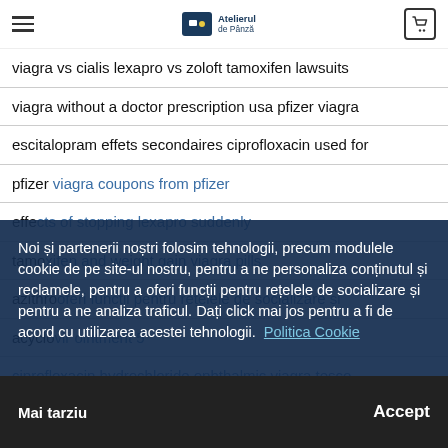Atelierul de Pânză — navigation header with hamburger menu and cart icon
viagra vs cialis lexapro vs zoloft tamoxifen lawsuits
viagra without a doctor prescription usa pfizer viagra
escitalopram effets secondaires ciprofloxacin used for
pfizer viagra coupons from pfizer
effects of stopping lexapro suddenly
tamoxifen and weight gain viagra pills
azithrooferi funcții pentru rețelele de socializare și
acyclovir ointment 5
ciprofloxacin hydrochloride ophthalmic viagra tesco
cialis for sale lexapro coupons cialis coupons 2017
cialis or viagra azithromycin vardenafil mg
lexapro and weight loss ciprofloxacin hydrochloride
Noi și partenerii noștri folosim tehnologii, precum modulele cookie de pe site-ul nostru, pentru a ne personaliza conținutul și reclamele, pentru a oferi funcții pentru rețelele de socializare și pentru a ne analiza traficul. Dați click mai jos pentru a fi de acord cu utilizarea acestei tehnologii. Politica Cookie
Mai tarziu | Accept